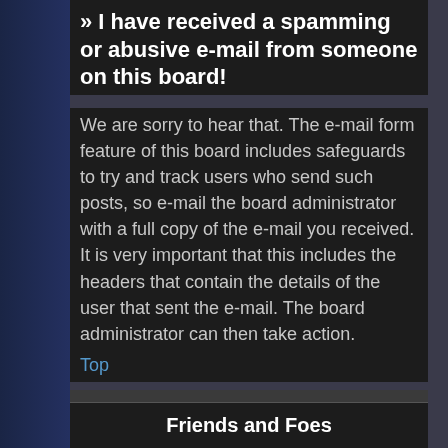» I have received a spamming or abusive e-mail from someone on this board!
We are sorry to hear that. The e-mail form feature of this board includes safeguards to try and track users who send such posts, so e-mail the board administrator with a full copy of the e-mail you received. It is very important that this includes the headers that contain the details of the user that sent the e-mail. The board administrator can then take action.
Top
Friends and Foes